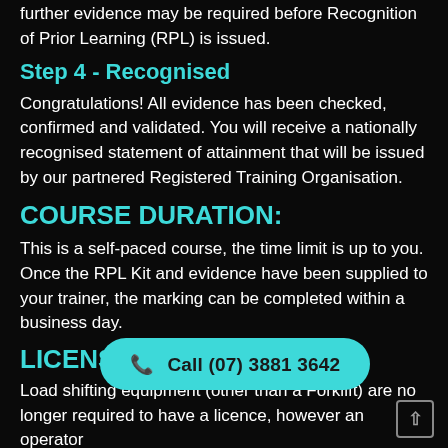further evidence may be required before Recognition of Prior Learning (RPL) is issued.
Step 4 - Recognised
Congratulations! All evidence has been checked, confirmed and validated. You will receive a nationally recognised statement of attainment that will be issued by our partnered Registered Training Organisation.
COURSE DURATION:
This is a self-paced course, the time limit is up to you. Once the RPL Kit and evidence have been supplied to your trainer, the marking can be completed within a business day.
LICENSING
Load shifting equipment (other than a Forklift) are no longer required to have a licence, however an operator